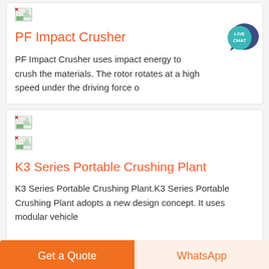[Figure (illustration): Broken/missing image placeholder icon for PF Impact Crusher]
PF Impact Crusher
PF Impact Crusher uses impact energy to crush the materials. The rotor rotates at a high speed under the driving force o
[Figure (illustration): Live Chat bubble icon overlay in top right]
[Figure (illustration): Broken/missing image placeholder icon 1 for K3 Series Portable Crushing Plant]
[Figure (illustration): Broken/missing image placeholder icon 2 for K3 Series Portable Crushing Plant]
K3 Series Portable Crushing Plant
K3 Series Portable Crushing Plant.K3 Series Portable Crushing Plant adopts a new design concept. It uses modular vehicle
Get a Quote
WhatsApp